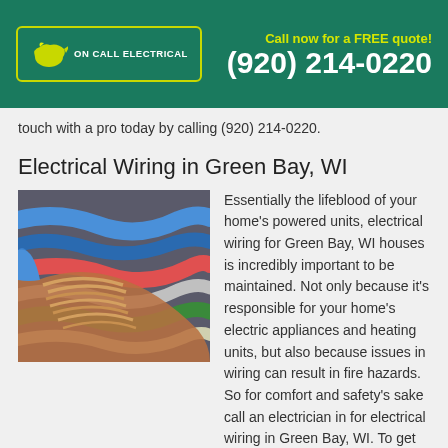Call now for a FREE quote! (920) 214-0220
touch with a pro today by calling (920) 214-0220.
Electrical Wiring in Green Bay, WI
[Figure (photo): Close-up photo of colorful electrical wiring cables, showing copper wire strands with various colored insulation including blue, red, green, and white.]
Essentially the lifeblood of your home's powered units, electrical wiring for Green Bay, WI houses is incredibly important to be maintained. Not only because it's responsible for your home's electric appliances and heating units, but also because issues in wiring can result in fire hazards. So for comfort and safety's sake call an electrician in for electrical wiring in Green Bay, WI. To get in touch with a pro, just dial (920) 214-0220 to get started and book that first appointment. Once the pro is on the job they can even provide you a free estimate for the service.